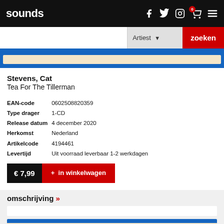sounds
Artiest   zoeken
Stevens, Cat
Tea For The Tillerman
| Field | Value |
| --- | --- |
| EAN-code | 0602508820359 |
| Type drager | 1-CD |
| Release datum | 4 december 2020 |
| Herkomst | Nederland |
| Artikelcode | 4194461 |
| Levertijd | Uit voorraad leverbaar 1-2 werkdagen |
€ 7,99   + in winkelwagen
omschrijving »